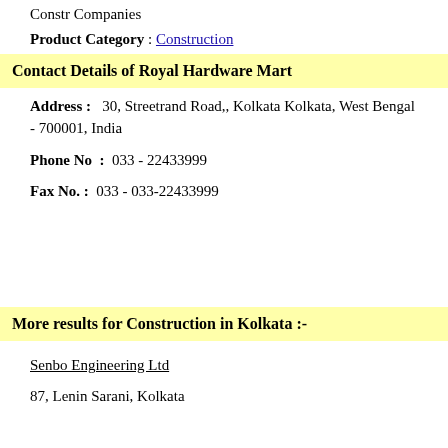Constr Companies
Product Category : Construction
Contact Details of Royal Hardware Mart
Address :    30, Streetrand Road,, Kolkata Kolkata, West Bengal - 700001, India
Phone No  :  033 - 22433999
Fax No. :  033 - 033-22433999
More results for Construction in Kolkata :-
Senbo Engineering Ltd
87, Lenin Sarani, Kolkata